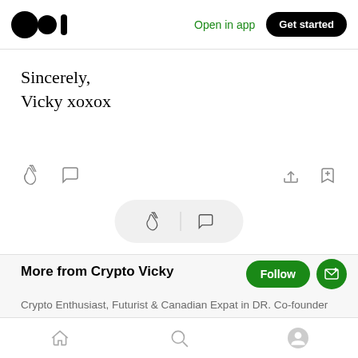Medium logo | Open in app | Get started
Sincerely,
Vicky xoxox
[Figure (screenshot): Article action bar with clap and comment icons on the left, share and bookmark icons on the right]
[Figure (screenshot): Floating pill with clap and comment icons]
More from Crypto Vicky
Crypto Enthusiast, Futurist & Canadian Expat in DR. Co-founder
Home | Search | Profile